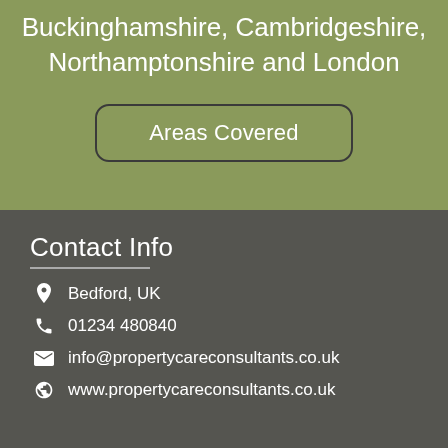Buckinghamshire, Cambridgeshire, Northamptonshire and London
Areas Covered
Contact Info
Bedford, UK
01234 480840
info@propertycareconsultants.co.uk
www.propertycareconsultants.co.uk